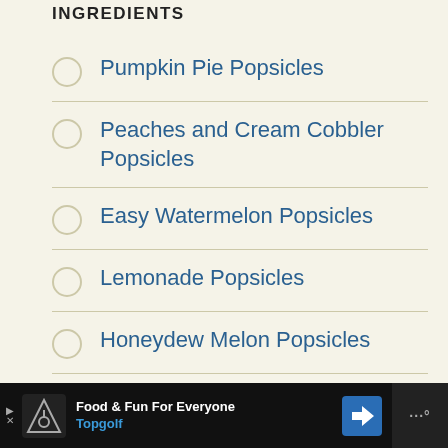INGREDIENTS
Pumpkin Pie Popsicles
Peaches and Cream Cobbler Popsicles
Easy Watermelon Popsicles
Lemonade Popsicles
Honeydew Melon Popsicles
6 Ingredient Healthy…
[Figure (infographic): Black advertisement banner at the bottom: Topgolf logo on left, text 'Food & Fun For Everyone' in white and 'Topgolf' in blue, blue diamond arrow icon, and a dark right panel with dots icon (menu/more).]